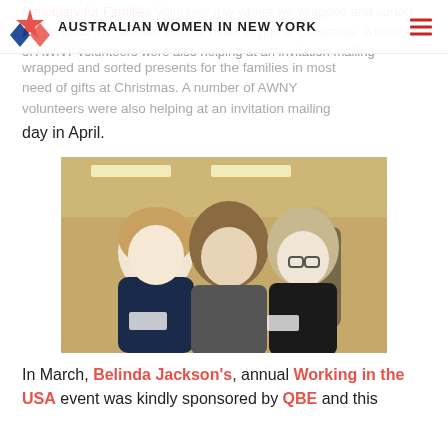AUSTRALIAN WOMEN IN NEW YORK
Sanctuary for Families Volunteer day where we wrapped and sorted presents for the families in most need of gifts at Christmas. A number of AWNY volunteers were also helping at an invitation mailing day in April.
[Figure (photo): Three women posing together at an indoor event, smiling at the camera. They are dressed in dark clothing. The background shows a bright office or event space with fluorescent lighting.]
In March, Belinda Jackson's, annual Working in the USA event was kindly sponsored by QBE and this would be starting the profits of $000 from the event